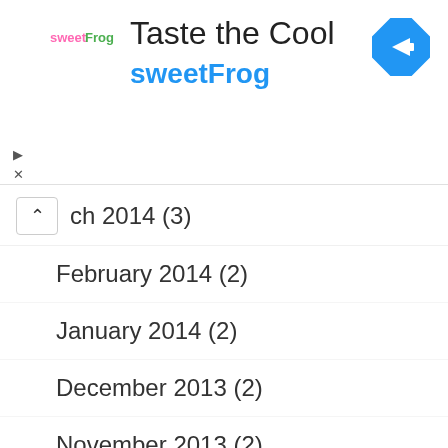[Figure (logo): sweetFrog logo with pink 'sweet' and green 'Frog' text]
Taste the Cool
sweetFrog
[Figure (other): Blue diamond navigation/direction icon with right arrow]
ch 2014 (3)
February 2014 (2)
January 2014 (2)
December 2013 (2)
November 2013 (2)
October 2013 (2)
September 2013 (3)
August 2013 (2)
July 2013 (2)
June 2013 (2)
May 2013 (2)